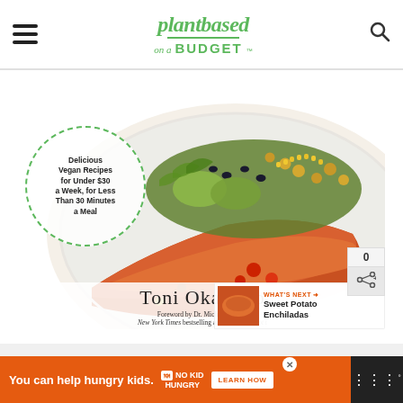plantbased on a BUDGET
[Figure (photo): Book cover for 'Plant Based on a Budget' by Toni Okamoto featuring a sweet potato topped with beans, guacamole, corn and vegetables. Circle text overlay reads: Delicious Vegan Recipes for Under $30 a Week, for Less Than 30 Minutes a Meal. Author name Toni Okamoto with foreword by Dr. Michael Greger, New York Times bestselling author of How Not t[o Die].]
WHAT'S NEXT → Sweet Potato Enchiladas
You can help hungry kids.  NO KID HUNGRY  LEARN HOW